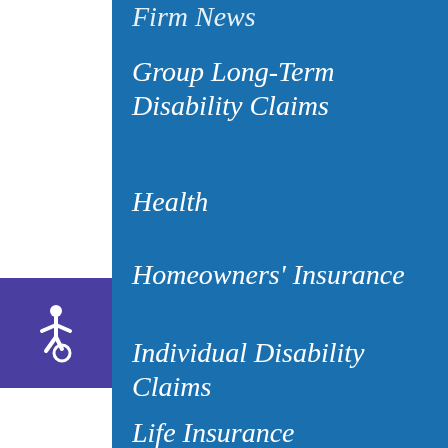Firm News
Group Long-Term Disability Claims
Health
Homeowners' Insurance
Individual Disability Claims
Life Insurance
Long Term Disability
Long-Term Care Insurance
Long-Term Disability Insurance
[Figure (illustration): Accessibility wheelchair icon in white on purple/indigo background square on the left sidebar]